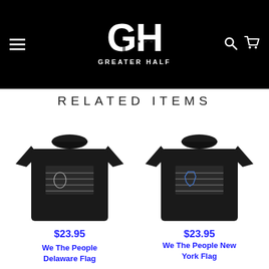[Figure (logo): Greater Half brand logo — white GH letters with stars on black background, text GREATER HALF below]
RELATED ITEMS
[Figure (photo): Black t-shirt with We The People Delaware Flag graphic — American flag with state outline]
$23.95
We The People Delaware Flag
[Figure (photo): Black t-shirt with We The People New York Flag graphic — American flag with state outline]
$23.95
We The People New York Flag